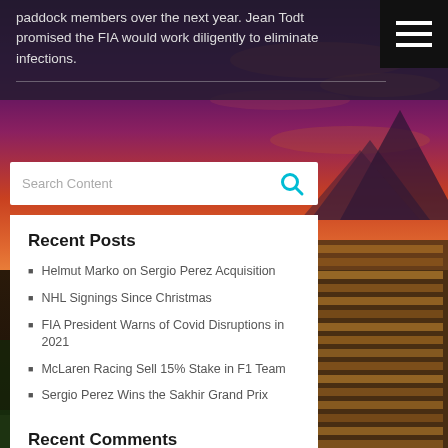paddock members over the next year. Jean Todt promised the FIA would work diligently to eliminate infections.
[Figure (photo): Sunset sky with mountains and stadium crowd in background]
[Figure (screenshot): Search bar with placeholder 'Search Content' and cyan magnifying glass icon]
Recent Posts
Helmut Marko on Sergio Perez Acquisition
NHL Signings Since Christmas
FIA President Warns of Covid Disruptions in 2021
McLaren Racing Sell 15% Stake in F1 Team
Sergio Perez Wins the Sakhir Grand Prix
Recent Comments